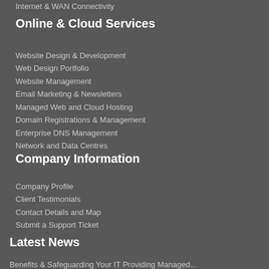Internet & WAN Connectivity
Online & Cloud Services
Website Design & Development
Web Design Portfolio
Website Management
Email Marketing & Newsletters
Managed Web and Cloud Hosting
Domain Registrations & Management
Enterprise DNS Management
Network and Data Centres
Company Information
Company Profile
Client Testimonials
Contact Details and Map
Submit a Support Ticket
Latest News
Benefits & Safeguarding Your IT Providing Managed...